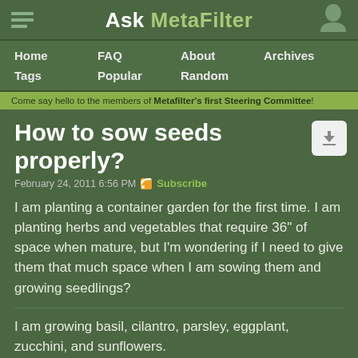Ask MetaFilter
Home
FAQ
About
Archives
Tags
Popular
Random
Come say hello to the members of Metafilter's first Steering Committee!
How to sow seeds properly?
February 24, 2011 6:56 PM  Subscribe
I am planting a container garden for the first time. I am planting herbs and vegetables that require 36" of space when mature, but I'm wondering if I need to give them that much space when I am sowing them and growing seedlings?
I am growing basil, cilantro, parsley, eggplant, zucchini, and sunflowers.
posted by luciddream938 to Home & Garden (22 answers total)